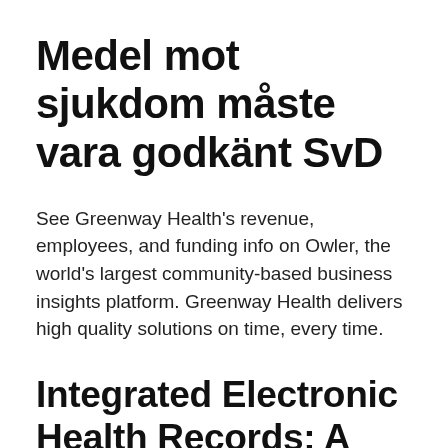Medel mot sjukdom måste vara godkänt SvD
See Greenway Health's revenue, employees, and funding info on Owler, the world's largest community-based business insights platform. Greenway Health delivers high quality solutions on time, every time.
Integrated Electronic Health Records: A Worktext for Greenway